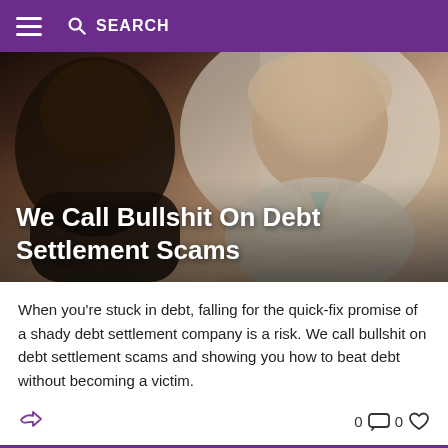SEARCH
[Figure (photo): Two people in conversation, a man seen from behind and a woman in a beige sweater looking concerned, with text overlay]
We Call Bullshit On Debt Settlement Scams
When you’re stuck in debt, falling for the quick-fix promise of a shady debt settlement company is a risk. We call bullshit on debt settlement scams and showing you how to beat debt without becoming a victim.
[Figure (photo): Partial view of a person's face at the bottom of the page, next article thumbnail]